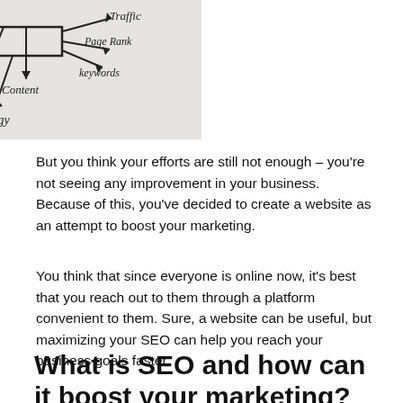[Figure (other): Hand-drawn SEO diagram on paper showing a central box with arrows pointing to/from labels: Social Media, Traffic, Tag, Page Rank, Content, keywords, Strategy]
But you think your efforts are still not enough – you're not seeing any improvement in your business. Because of this, you've decided to create a website as an attempt to boost your marketing.
You think that since everyone is online now, it's best that you reach out to them through a platform convenient to them. Sure, a website can be useful, but maximizing your SEO can help you reach your business goals faster.
What is SEO and how can it boost your marketing?